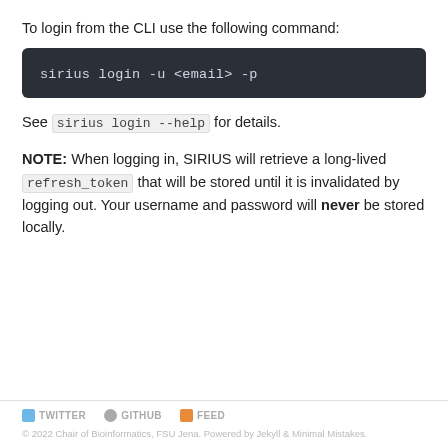To login from the CLI use the following command:
sirius login -u <email> -p
See sirius login --help for details.
NOTE: When logging in, SIRIUS will retrieve a long-lived refresh_token that will be stored until it is invalidated by logging out. Your username and password will never be stored locally.
TWITTER   GITHUB   FEED
© 2022 Chair of Bioinformatics, FSU Jena. Powered by Jekyll & Minimal Mistakes.